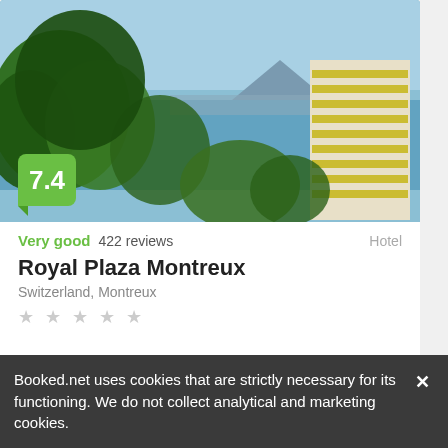[Figure (photo): Aerial/elevated view of Montreux lakeside with blue lake, mountains, trees, and hotel building with yellow balconies]
7.4
Very good  422 reviews    Hotel
Royal Plaza Montreux
Switzerland, Montreux
★ ★ ★ ★ ★
403US$
Booked.net uses cookies that are strictly necessary for its functioning. We do not collect analytical and marketing cookies.